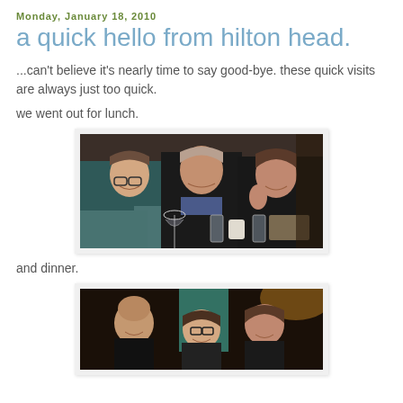Monday, January 18, 2010
a quick hello from hilton head.
...can't believe it's nearly time to say good-bye. these quick visits are always just too quick.
we went out for lunch.
[Figure (photo): Three women sitting at a restaurant table with wine glasses and water glasses, smiling at the camera.]
and dinner.
[Figure (photo): Group of people sitting at a table in a dark restaurant setting.]